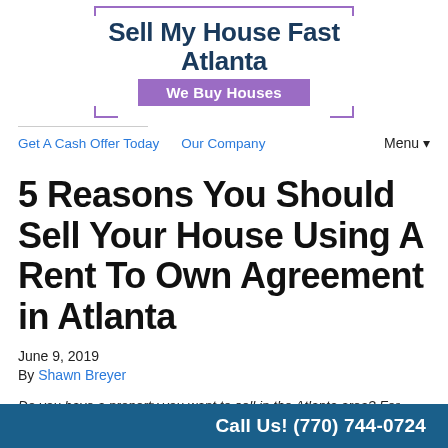[Figure (logo): Sell My House Fast Atlanta logo with purple bracket border and 'We Buy Houses' badge]
Get A Cash Offer Today  Our Company  Menu▼
5 Reasons You Should Sell Your House Using A Rent To Own Agreement in Atlanta
June 9, 2019
By Shawn Breyer
Do you have a property you want to sell in the Atlanta area? For many homeowners, using a rent to own agreement will
Call Us! (770) 744-0724